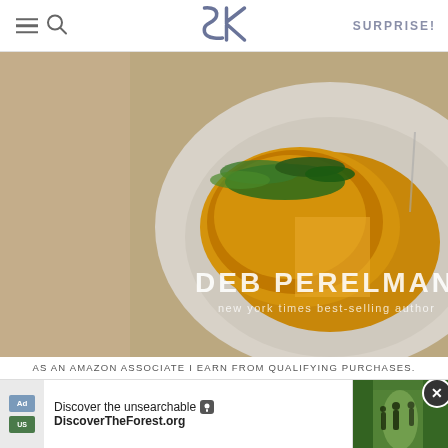SK logo, navigation icons, SURPRISE!
[Figure (photo): Cookbook cover showing a tortilla/frittata dish on a white plate with arugula, credited to Deb Perelman, new york times best-selling author]
AS AN AMAZON ASSOCIATE I EARN FROM QUALIFYING PURCHASES.
©2009–2022 SMITTEN KITCHEN. PROUDLY POWERED BY WORDPRESS. HOSTED BY PRESSABLE
[Figure (screenshot): Advertisement banner: Discover the unsearchable / DiscoverTheForest.org with forest photo and close button]